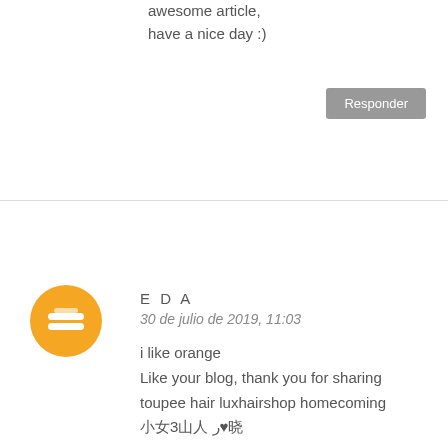awesome article,
have a nice day :)
Responder
EDA
30 de julio de 2019, 11:03
i like orange
Like your blog, thank you for sharing
toupee hair luxhairshop homecoming
囧囧囧3囧囧囧 ر♥️囧